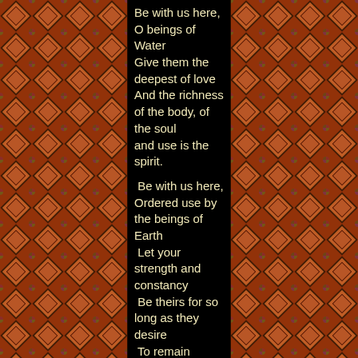[Figure (illustration): Decorative stained-glass style mosaic border on left side of page with colorful diamond/square pattern in red, orange, green, purple tones]
Be with us here, O beings of Water
Give them the deepest of love
And the richness of the body, of the soul
and use is the spirit.

 Be with us here, Ordered use by the
beings of Earth
 Let your strength and constancy
 Be theirs for so long as they desire
 To remain together not to be attack each
other.
 Blessed Goddess and Laughing God
 Give to these before you, we do ask
 Your love and protection.
 Blessed Be so you can be well.

All: Blessed Be.

Priest/ess:
 Holds up the wand with the rings upon it
so non are effected.

 Place your right hands Over this wand
with use is your rings – with his hand over
hers.
[Figure (illustration): Decorative stained-glass style mosaic border on right side of page with colorful diamond/square pattern in red, orange, green, purple tones]